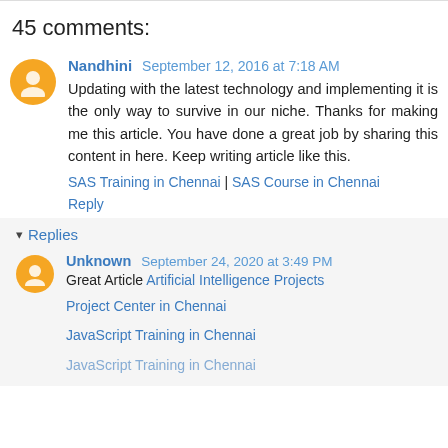45 comments:
Nandhini  September 12, 2016 at 7:18 AM
Updating with the latest technology and implementing it is the only way to survive in our niche. Thanks for making me this article. You have done a great job by sharing this content in here. Keep writing article like this.
SAS Training in Chennai | SAS Course in Chennai
Reply
▾ Replies
Unknown  September 24, 2020 at 3:49 PM
Great Article Artificial Intelligence Projects

Project Center in Chennai

JavaScript Training in Chennai

JavaScript Training in Chennai